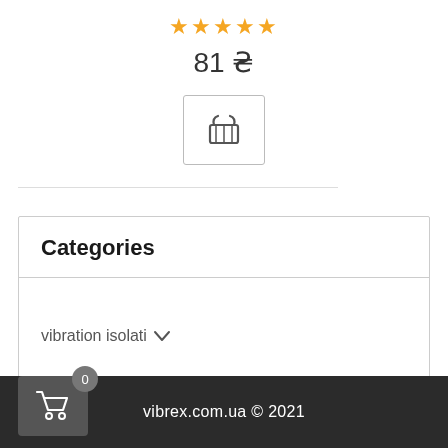[Figure (infographic): Five gold/orange filled stars rating display]
81 ₴
[Figure (infographic): Shopping basket icon inside a rectangular button with border]
Categories
vibration isolati ∨
vibrex.com.ua © 2021